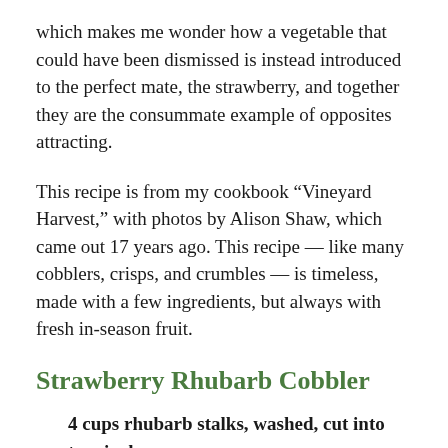which makes me wonder how a vegetable that could have been dismissed is instead introduced to the perfect mate, the strawberry, and together they are the consummate example of opposites attracting.
This recipe is from my cookbook “Vineyard Harvest,” with photos by Alison Shaw, which came out 17 years ago. This recipe — like many cobblers, crisps, and crumbles — is timeless, made with a few ingredients, but always with fresh in-season fruit.
Strawberry Rhubarb Cobbler
4 cups rhubarb stalks, washed, cut into two-inch